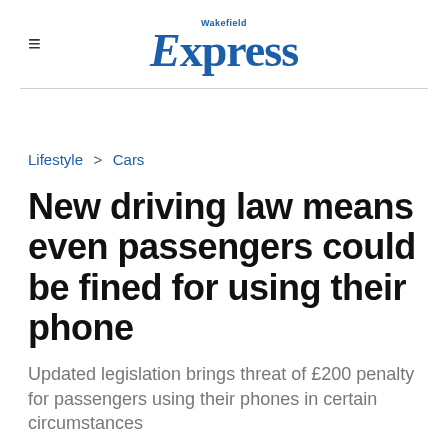Wakefield Express
Lifestyle > Cars
New driving law means even passengers could be fined for using their phone
Updated legislation brings threat of £200 penalty for passengers using their phones in certain circumstances